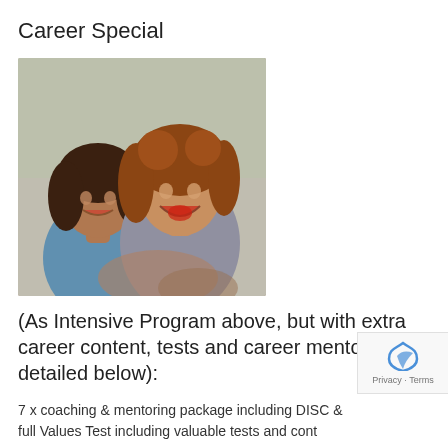Career Special
[Figure (photo): Two smiling young women, one with dark hair and one with curly reddish-brown hair, laughing together in a bright setting]
(As Intensive Program above, but with extra career content, tests and career mentoring detailed below):
7 x coaching & mentoring package including DISC & full Values Test including valuable tests and cont
Career Special coaching and mentoring includes: